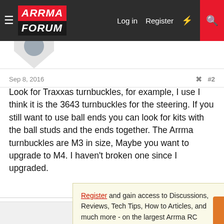ARRMA FORUM — Log in | Register
Sep 8, 2016  #2
Look for Traxxas turnbuckles, for example, I use I think it is the 3643 turnbuckles for the steering. If you still want to use ball ends you can look for kits with the ball studs and the ends together. The Arrma turnbuckles are M3 in size, Maybe you want to upgrade to M4. I haven't broken one since I upgraded.
Register and gain access to Discussions, Reviews, Tech Tips, How to Articles, and much more - on the largest Arrma RC community for RC enthusiasts that covers all aspects of the Arrma-RC brand!

Register Today It's free! This box will disappear once registered!